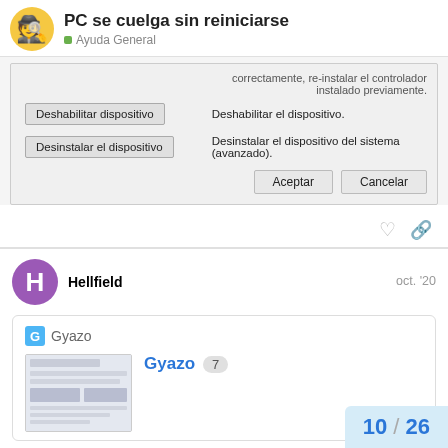PC se cuelga sin reiniciarse — Ayuda General
[Figure (screenshot): Screenshot of a Windows device manager dialog showing options: 'Deshabilitar dispositivo' and 'Desinstalar el dispositivo' with descriptions, and Aceptar/Cancelar buttons at the bottom.]
Hellfield — oct. '20
[Figure (screenshot): Gyazo shared image card showing a thumbnail of a system information window and the title 'Gyazo 7']
10 / 26